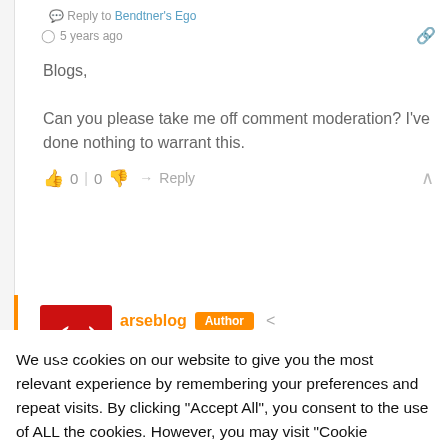Reply to Bendtner's Ego · 5 years ago
Blogs,

Can you please take me off comment moderation? I've done nothing to warrant this.
0 | 0  → Reply
arseblog  Author  Reply to Bendtner's Ego · 5 years ago
We use cookies on our website to give you the most relevant experience by remembering your preferences and repeat visits. By clicking "Accept All", you consent to the use of ALL the cookies. However, you may visit "Cookie Settings" to provide a controlled consent.
Cookie Settings  Accept All